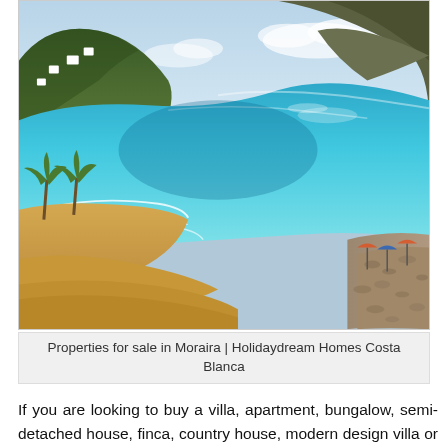[Figure (photo): Aerial view of a beautiful Mediterranean beach cove with turquoise blue water, sandy beach, palm trees along the shore, and a rocky hill in the background with white villas. Moraira, Costa Blanca, Spain.]
Properties for sale in Moraira | Holidaydream Homes Costa Blanca
If you are looking to buy a villa, apartment, bungalow, semi-detached house, finca, country house, modern design villa or a plot to build your house in Moraira.
We have the widest selection of properties for sale, resale and new construction in Moraira, we have direct collaboration with other serious and professional real estate agencies in the area, we offer